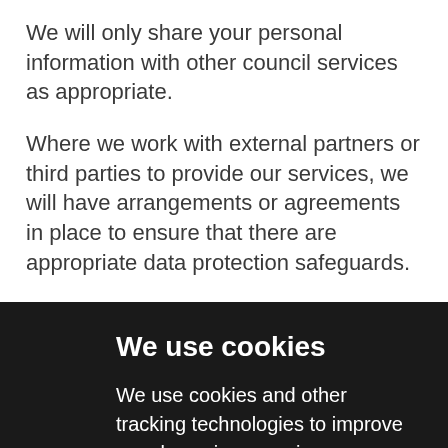We will only share your personal information with other council services as appropriate.
Where we work with external partners or third parties to provide our services, we will have arrangements or agreements in place to ensure that there are appropriate data protection safeguards.
We use cookies
We use cookies and other tracking technologies to improve your browsing experience on our website, to show you personalized content and targeted ads, to analyze our website traffic, and